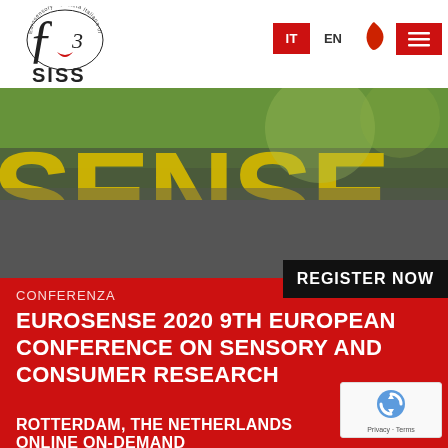[Figure (logo): SISS logo - Società Italiana di Scienze with stylized face illustration and 'SISS' text below]
[Figure (screenshot): Navigation bar with IT (red button), EN (text link), Italy map icon, and hamburger menu (red button)]
[Figure (photo): Hero banner image showing large yellow/green letters spelling SENSE on a blurred outdoor background]
REGISTER NOW
CONFERENZA
EUROSENSE 2020 9TH EUROPEAN CONFERENCE ON SENSORY AND CONSUMER RESEARCH
ROTTERDAM, THE NETHERLANDS ONLINE ON-DEMAND